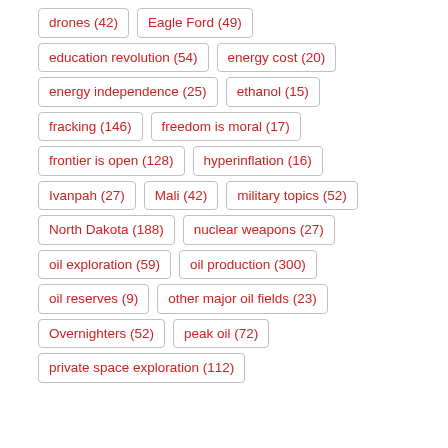drones (42)
Eagle Ford (49)
education revolution (54)
energy cost (20)
energy independence (25)
ethanol (15)
fracking (146)
freedom is moral (17)
frontier is open (128)
hyperinflation (16)
Ivanpah (27)
Mali (42)
military topics (52)
North Dakota (188)
nuclear weapons (27)
oil exploration (59)
oil production (300)
oil reserves (9)
other major oil fields (23)
Overnighters (52)
peak oil (72)
private space exploration (112)